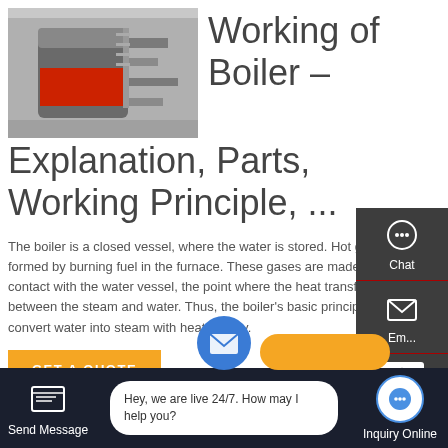[Figure (photo): Photo of an industrial boiler with red and grey components in a factory setting]
Working of Boiler – Explanation, Parts, Working Principle, ...
The boiler is a closed vessel, where the water is stored. Hot gases are formed by burning fuel in the furnace. These gases are made to come in contact with the water vessel, the point where the heat transfer takes place between the steam and water. Thus, the boiler's basic principle is to convert water into steam with heat energy.
[Figure (screenshot): Website UI screenshot showing a chat sidebar with Chat, Email, TOP button, and Contact options on a dark background panel]
[Figure (screenshot): Bottom navigation bar with Send Message button, live chat bubble saying Hey, we are live 24/7. How may I help you?, and Inquiry Online button]